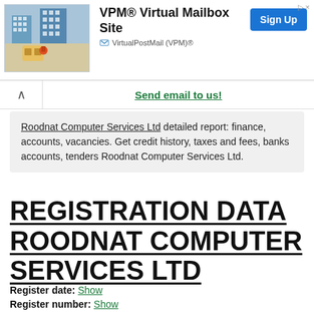[Figure (screenshot): Advertisement banner for VPM Virtual Mailbox Site by VirtualPostMail (VPM)®, with Sign Up button]
Send email to us!
Roodnat Computer Services Ltd detailed report: finance, accounts, vacancies. Get credit history, taxes and fees, banks accounts, tenders Roodnat Computer Services Ltd.
REGISTRATION DATA ROODNAT COMPUTER SERVICES LTD
Register date: Show
Register number: Show